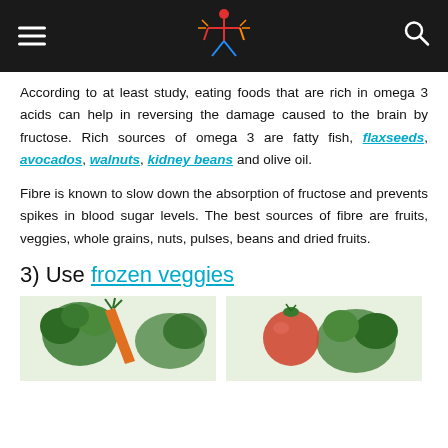Header with logo and navigation
According to at least study, eating foods that are rich in omega 3 acids can help in reversing the damage caused to the brain by fructose. Rich sources of omega 3 are fatty fish, flaxseeds, avocados, walnuts, kidney beans and olive oil.
Fibre is known to slow down the absorption of fructose and prevents spikes in blood sugar levels. The best sources of fibre are fruits, veggies, whole grains, nuts, pulses, beans and dried fruits.
3) Use frozen veggies
[Figure (photo): Two groups of fresh vegetables including broccoli, carrots, tomatoes and other greens on a white background]